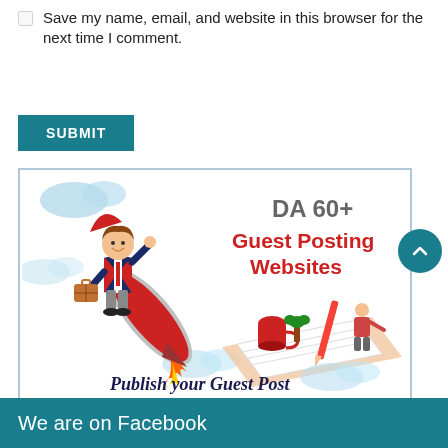Save my name, email, and website in this browser for the next time I comment.
SUBMIT
[Figure (illustration): Promotional banner image with text 'DA 60+ Guest Posting Websites' and 'Publish your Guest Post', featuring a cartoon businessman riding a rocket and a writing desk scene.]
We are on Facebook